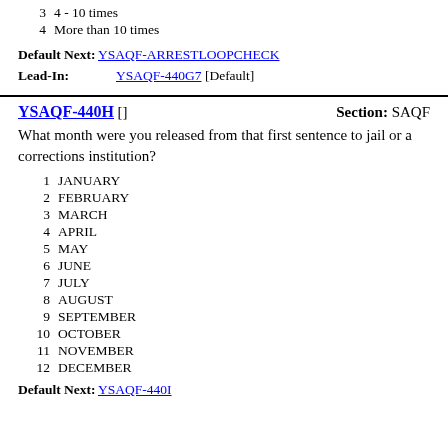3   4 - 10 times
4   More than 10 times
Default Next: YSAQF-ARRESTLOOPCHECK
Lead-In: YSAQF-440G7 [Default]
YSAQF-440H []   Section: SAQF
What month were you released from that first sentence to jail or a corrections institution?
1  JANUARY
2  FEBRUARY
3  MARCH
4  APRIL
5  MAY
6  JUNE
7  JULY
8  AUGUST
9  SEPTEMBER
10  OCTOBER
11  NOVEMBER
12  DECEMBER
Default Next: YSAQF-440I